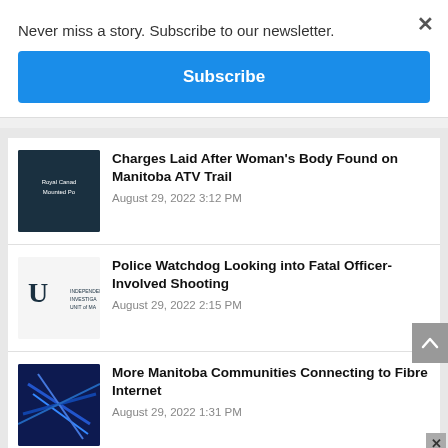Never miss a story. Subscribe to our newsletter.
Subscribe
×
Charges Laid After Woman's Body Found on Manitoba ATV Trail
August 29, 2022 3:12 PM
Police Watchdog Looking into Fatal Officer-Involved Shooting
August 29, 2022 2:15 PM
More Manitoba Communities Connecting to Fibre Internet
August 29, 2022 1:31 PM
[Figure (infographic): Red advertisement banner: SEPT 3 #LETSGOGOLDEYES with BUY TICKETS button]